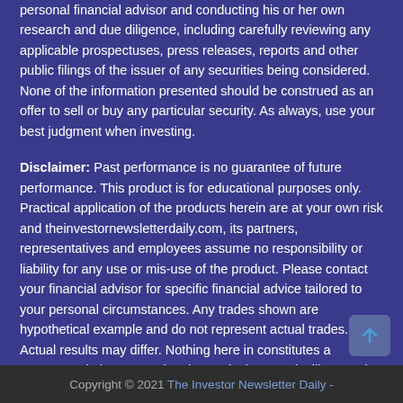personal financial advisor and conducting his or her own research and due diligence, including carefully reviewing any applicable prospectuses, press releases, reports and other public filings of the issuer of any securities being considered. None of the information presented should be construed as an offer to sell or buy any particular security. As always, use your best judgment when investing.
Disclaimer: Past performance is no guarantee of future performance. This product is for educational purposes only. Practical application of the products herein are at your own risk and theinvestornewsletterdaily.com, its partners, representatives and employees assume no responsibility or liability for any use or mis-use of the product. Please contact your financial advisor for specific financial advice tailored to your personal circumstances. Any trades shown are hypothetical example and do not represent actual trades. Actual results may differ. Nothing here in constitutes a recommendation respecting the particular security illustrated.
Copyright © 2021 The Investor Newsletter Daily -